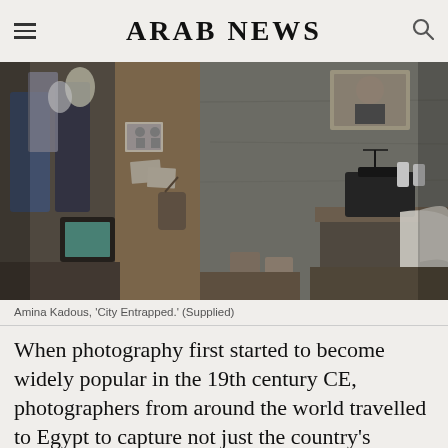ARAB NEWS
[Figure (photo): Interior of a cramped, cluttered room with a sewing machine on a table, old television, clothes hanging, personal photographs pinned to a wooden board, and worn concrete walls. Documentary-style photograph in muted tones.]
Amina Kadous, 'City Entrapped.' (Supplied)
When photography first started to become widely popular in the 19th century CE, photographers from around the world travelled to Egypt to capture not just the country's multitude of ancient monuments, but, as Farid